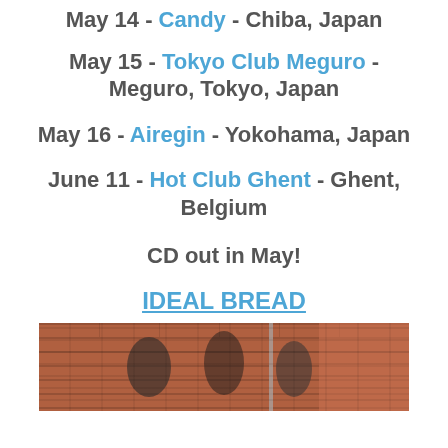May 14 - Candy - Chiba, Japan
May 15 - Tokyo Club Meguro - Meguro, Tokyo, Japan
May 16 - Airegin - Yokohama, Japan
June 11 - Hot Club Ghent - Ghent, Belgium
CD out in May!
IDEAL BREAD
[Figure (photo): Photo of a group of people standing in front of a brick building outdoors, partial view cropped at bottom of page]